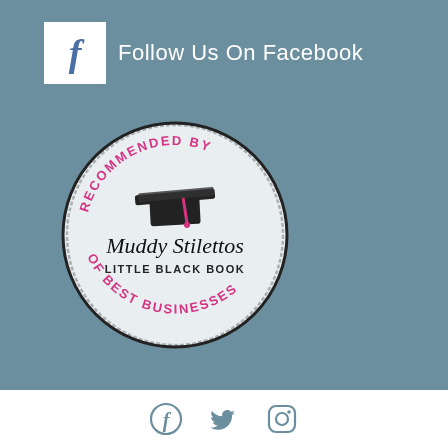[Figure (logo): Facebook icon (white background with stylized lowercase f) followed by text 'Follow Us On Facebook' on teal/slate background]
[Figure (logo): Circular stamp/badge reading 'RECOMMENDED BY' (top, pink text), 'Muddy Stilettos' (script font), 'LITTLE BLACK BOOK' (bold caps), 'OF BEST BUSINESSES' (bottom, pink text), with a graduation cap icon in center, on teal background]
[Figure (logo): Footer bar with Facebook, Twitter, and Instagram social media icons in teal/slate color on white background]